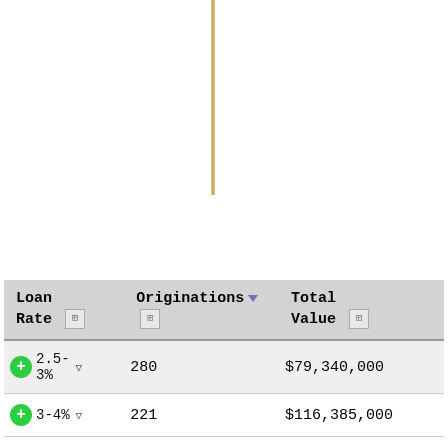[Figure (continuous-plot): Partial view of a bar or line chart, showing only the bottom portion — a thin vertical golden/yellow line/bar visible near the center-top of the chart area, rest of chart is cut off. White background.]
| Loan Rate | Originations ▼ | Total Value |
| --- | --- | --- |
| 2.5-3% | 280 | $79,340,000 |
| 3-4% | 221 | $116,385,000 |